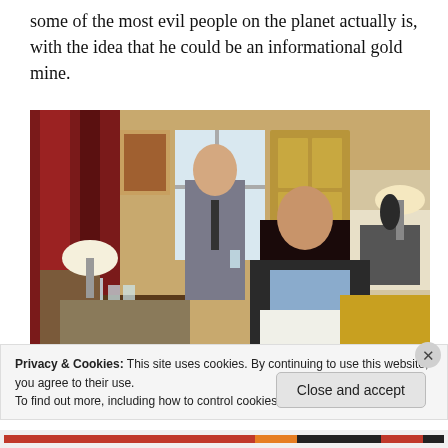some of the most evil people on the planet actually is, with the idea that he could be an informational gold mine.
[Figure (photo): Scene from a TV show or film: an older bald man in a grey vest stands holding a glass, while a woman with long dark hair sits in the foreground reading papers, in an elegant room with red curtains and a fireplace.]
Privacy & Cookies: This site uses cookies. By continuing to use this website, you agree to their use.
To find out more, including how to control cookies, see here: Cookie Policy
Close and accept